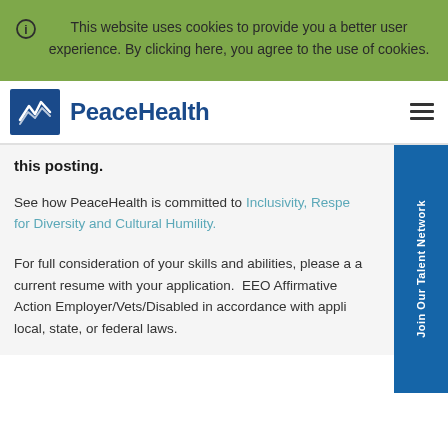This website uses cookies to provide you a better user experience. By clicking here, you agree to the use of cookies.
[Figure (logo): PeaceHealth logo with blue square containing white wave/bird icon and 'PeaceHealth' text in blue]
this posting.
See how PeaceHealth is committed to Inclusivity, Resp... for Diversity and Cultural Humility.
For full consideration of your skills and abilities, please a... a current resume with your application.  EEO Affirmative Action Employer/Vets/Disabled in accordance with appli... local, state, or federal laws.